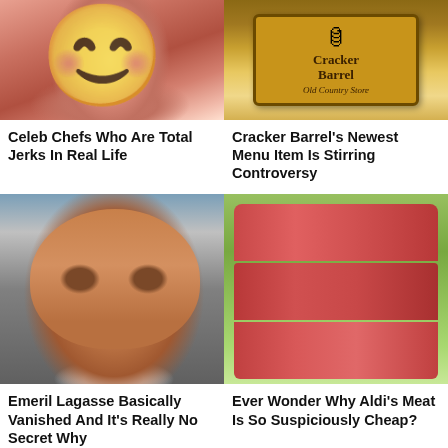[Figure (photo): Close-up photo of a smiling woman with brown hair, showing teeth]
[Figure (photo): Cracker Barrel Old Country Store sign with brown and orange branding]
Celeb Chefs Who Are Total Jerks In Real Life
Cracker Barrel's Newest Menu Item Is Stirring Controversy
[Figure (photo): Close-up photo of a heavy-set man in a white chef's coat with dark hair, reddish complexion]
[Figure (photo): Stack of raw red meat slices on a green background]
Emeril Lagasse Basically Vanished And It's Really No Secret Why
Ever Wonder Why Aldi's Meat Is So Suspiciously Cheap?